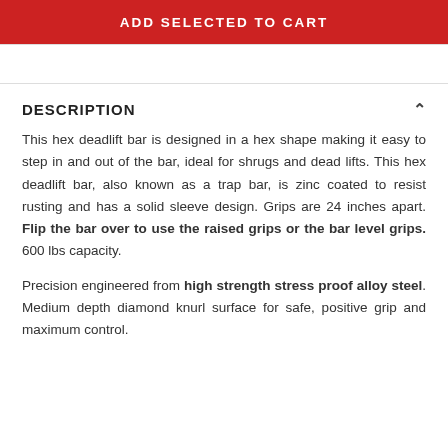ADD SELECTED TO CART
DESCRIPTION
This hex deadlift bar is designed in a hex shape making it easy to step in and out of the bar, ideal for shrugs and dead lifts. This hex deadlift bar, also known as a trap bar, is zinc coated to resist rusting and has a solid sleeve design. Grips are 24 inches apart. Flip the bar over to use the raised grips or the bar level grips. 600 lbs capacity.
Precision engineered from high strength stress proof alloy steel. Medium depth diamond knurl surface for safe, positive grip and maximum control.